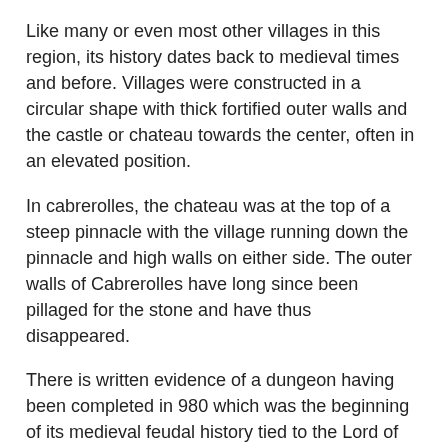Like many or even most other villages in this region, its history dates back to medieval times and before. Villages were constructed in a circular shape with thick fortified outer walls and the castle or chateau towards the center, often in an elevated position.
In cabrerolles, the chateau was at the top of a steep pinnacle with the village running down the pinnacle and high walls on either side. The outer walls of Cabrerolles have long since been pillaged for the stone and have thus disappeared.
There is written evidence of a dungeon having been completed in 980 which was the beginning of its medieval feudal history tied to the Lord of Narbonne. The village then played an active roll in the Cathar Crusade in the 11th and 12th centuries.
Unlike other settlements closer to the coast, he village